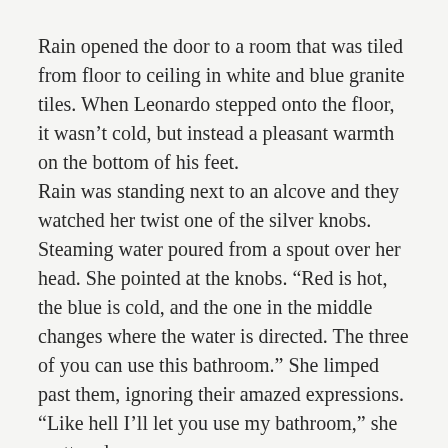Rain opened the door to a room that was tiled from floor to ceiling in white and blue granite tiles. When Leonardo stepped onto the floor, it wasn't cold, but instead a pleasant warmth on the bottom of his feet.
Rain was standing next to an alcove and they watched her twist one of the silver knobs. Steaming water poured from a spout over her head. She pointed at the knobs. “Red is hot, the blue is cold, and the one in the middle changes where the water is directed. The three of you can use this bathroom.” She limped past them, ignoring their amazed expressions. “Like hell I’ll let you use my bathroom,” she muttered.